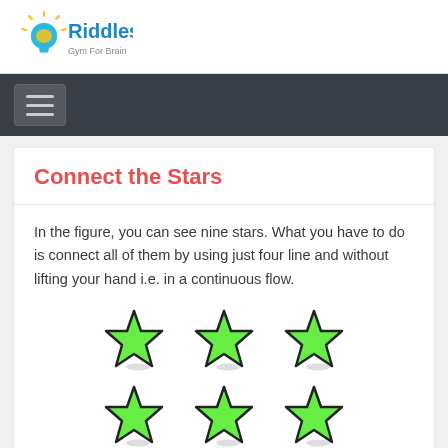[Figure (logo): Riddles360 logo with lightbulb icon and text 'Riddles360 Gym For Brain']
[Figure (other): Navigation bar with hamburger menu button]
Connect the Stars
In the figure, you can see nine stars. What you have to do is connect all of them by using just four line and without lifting your hand i.e. in a continuous flow.
[Figure (illustration): Six green stars arranged in a 3x2 grid (partial view of 9 stars)]